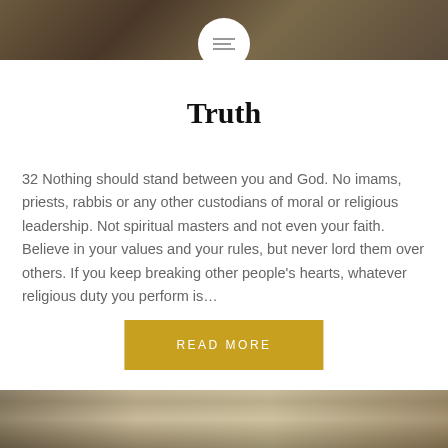[Figure (photo): Top decorative photo strip with autumn/nature background, partially obscured by white circle logo with menu lines]
Truth
32 Nothing should stand between you and God. No imams, priests, rabbis or any other custodians of moral or religious leadership. Not spiritual masters and not even your faith. Believe in your values and your rules, but never lord them over others. If you keep breaking other people's hearts, whatever religious duty you perform is…
[Figure (other): READ MORE button in golden/yellow color]
[Figure (photo): Bottom decorative photo strip showing a building exterior with flowers and architectural details]